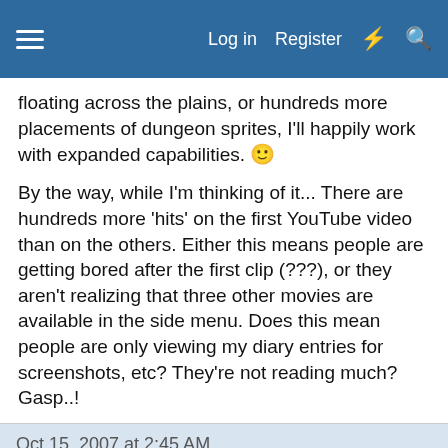Log in  Register
floating across the plains, or hundreds more placements of dungeon sprites, I'll happily work with expanded capabilities. 🙂
By the way, while I'm thinking of it... There are hundreds more 'hits' on the first YouTube video than on the others. Either this means people are getting bored after the first clip (???), or they aren't realizing that three other movies are available in the side menu. Does this mean people are only viewing my diary entries for screenshots, etc? They're not reading much? Gasp..!
Oct 15, 2007 at 2:45 AM
andwhyisit
Administrator
Forum Administrator
"Life begins and ends with Nu."
Join Date: Jul 15, 2007